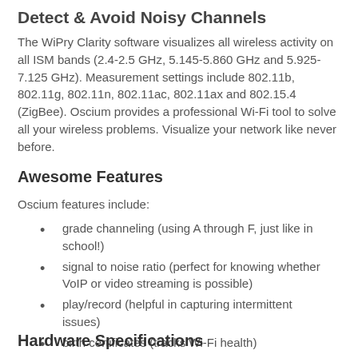Detect & Avoid Noisy Channels
The WiPry Clarity software visualizes all wireless activity on all ISM bands (2.4-2.5 GHz, 5.145-5.860 GHz and 5.925-7.125 GHz). Measurement settings include 802.11b, 802.11g, 802.11n, 802.11ac, 802.11ax and 802.15.4 (ZigBee). Oscium provides a professional Wi-Fi tool to solve all your wireless problems. Visualize your network like never before.
Awesome Features
Oscium features include:
grade channeling (using A through F, just like in school!)
signal to noise ratio (perfect for knowing whether VoIP or video streaming is possible)
play/record (helpful in capturing intermittent issues)
birth certificates (tracks Wi-Fi health)
view environment over time using waterfall mode
Hardware Specifications